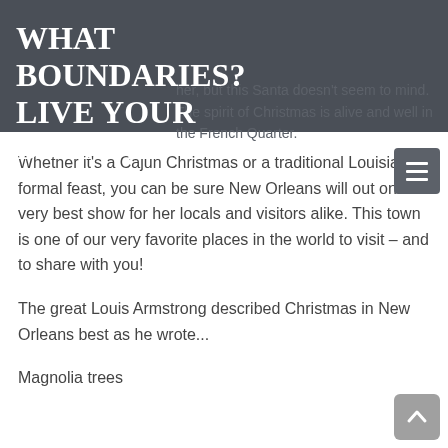WHAT BOUNDARIES? LIVE YOUR DREAM!
her, but this Santa doesn't seem to mind. The spirit of Christmas is alive and well in the French Quarter.
Whether it's a Cajun Christmas or a traditional Louisiana formal feast, you can be sure New Orleans will out on her very best show for her locals and visitors alike. This town is one of our very favorite places in the world to visit – and to share with you!
The great Louis Armstrong described Christmas in New Orleans best as he wrote...
Magnolia trees